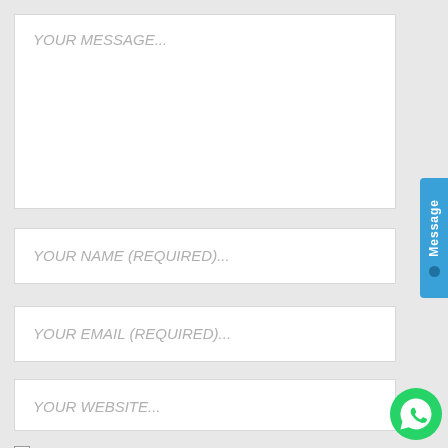YOUR MESSAGE...
YOUR NAME (REQUIRED)...
YOUR EMAIL (REQUIRED)...
YOUR WEBSITE...
[Figure (infographic): Blue vertical tab on right edge labeled 'Message' with a dark dot below the text]
[Figure (logo): WhatsApp green circular logo with phone handset icon in lower right corner]